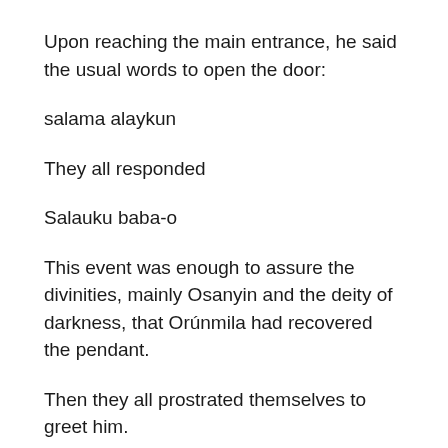Upon reaching the main entrance, he said the usual words to open the door:
salama alaykun
They all responded
Salauku baba-o
This event was enough to assure the divinities, mainly Osanyin and the deity of darkness, that Orúnmila had recovered the pendant.
Then they all prostrated themselves to greet him.